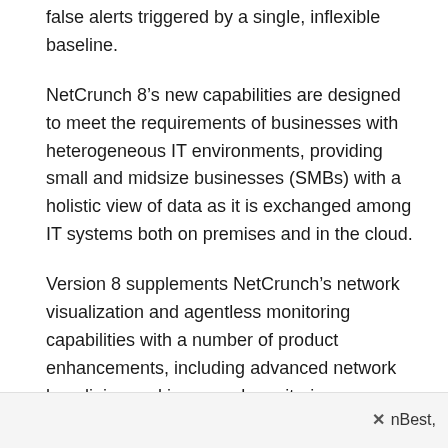false alerts triggered by a single, inflexible baseline.
NetCrunch 8’s new capabilities are designed to meet the requirements of businesses with heterogeneous IT environments, providing small and midsize businesses (SMBs) with a holistic view of data as it is exchanged among IT systems both on premises and in the cloud.
Version 8 supplements NetCrunch’s network visualization and agentless monitoring capabilities with a number of product enhancements, including advanced network baselining and increased monitoring coverage.
“NetCrunch is the Swiss Army Knife for network managers wanting to know how their networks and devices are performing,” Martin Sjögren, editor of IT for Småföretag.se, a contract publisher, told us. “We rely